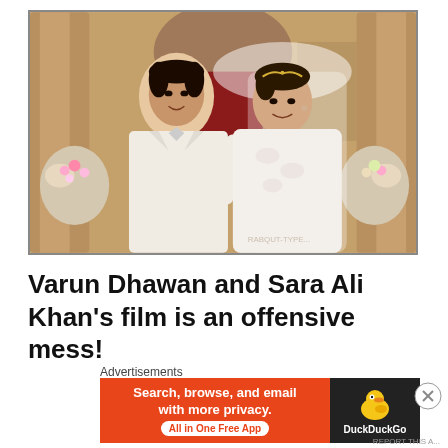[Figure (photo): A couple posing in wedding attire inside a grand church setting. The man wears a white suit with a bow tie, and the woman wears a white lace wedding dress with veil and tiara. Floral arrangements visible in the background.]
Varun Dhawan and Sara Ali Khan's film is an offensive mess!
Advertisements
[Figure (screenshot): DuckDuckGo advertisement banner. Orange background with text: 'Search, browse, and email with more privacy. All in One Free App' and DuckDuckGo logo on dark background on the right.]